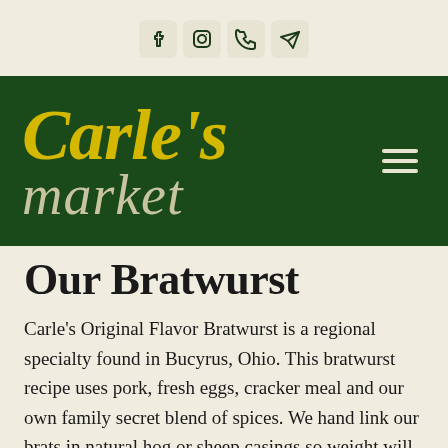[Social media icons: Facebook, Instagram, Phone, Send/Message]
[Figure (logo): Carle's market logo in yellow and cream italic text on dark green background, with hamburger menu icon]
Our Bratwurst
Carle's Original Flavor Bratwurst is a regional specialty found in Bucyrus, Ohio. This bratwurst recipe uses pork, fresh eggs, cracker meal and our own family secret blend of spices. We hand link our brats in natural hog or sheep casings so weight will